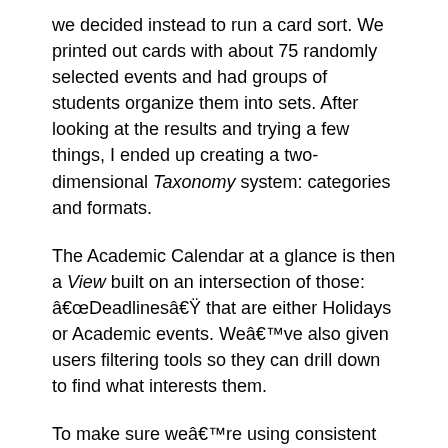we decided instead to run a card sort. We printed out cards with about 75 randomly selected events and had groups of students organize them into sets. After looking at the results and trying a few things, I ended up creating a two-dimensional Taxonomy system: categories and formats.
The Academic Calendar at a glance is then a View built on an intersection of those: â€œDeadlinesâ€ that are either Holidays or Academic events. Weâ€™ve also given users filtering tools so they can drill down to find what interests them.
To make sure weâ€™re using consistent descriptions, the page describing the categories and formats is actually built with Views and Insert View, displaying the taxonomy term descriptions. For my own ease of use, I added edit links, too.